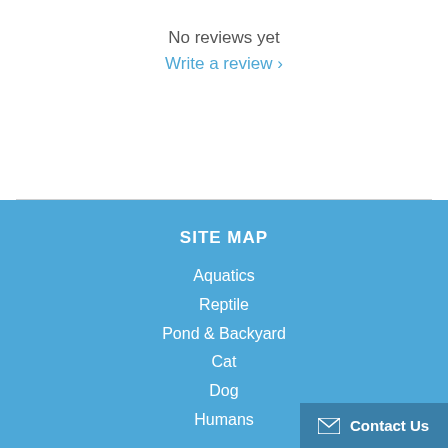No reviews yet
Write a review ›
SITE MAP
Aquatics
Reptile
Pond & Backyard
Cat
Dog
Humans
Contact Us